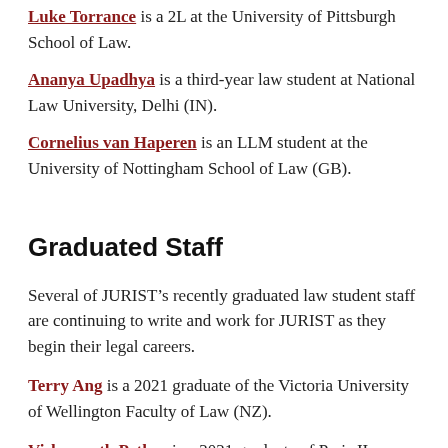Luke Torrance is a 2L at the University of Pittsburgh School of Law.
Ananya Upadhya is a third-year law student at National Law University, Delhi (IN).
Cornelius van Haperen is an LLM student at the University of Nottingham School of Law (GB).
Graduated Staff
Several of JURIST’s recently graduated law student staff are continuing to write and work for JURIST as they begin their legal careers.
Terry Ang is a 2021 graduate of the Victoria University of Wellington Faculty of Law (NZ).
Vishwanath Petkar is a 2021 graduate of Paris II